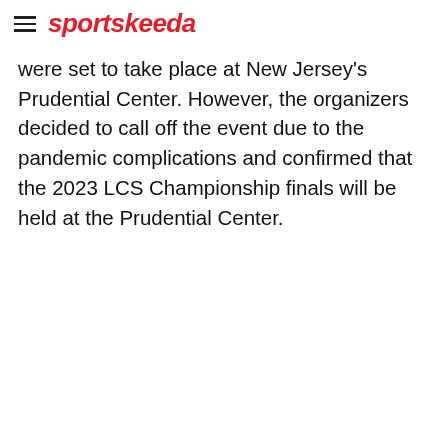sportskeeda
were set to take place at New Jersey's Prudential Center. However, the organizers decided to call off the event due to the pandemic complications and confirmed that the 2023 LCS Championship finals will be held at the Prudential Center.